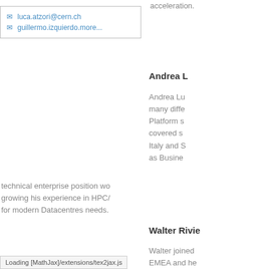acceleration.
luca.atzori@cern.ch
guillermo.izquierdo.more...
Andrea L
Andrea Lu many diffe Platform s covered s Italy and S as Busine technical enterprise position wo growing his experience in HPC/ for modern Datacentres needs.
Walter Rivie
Walter joined EMEA and he within the Da
Loading [MathJax]/extensions/tex2jax.js